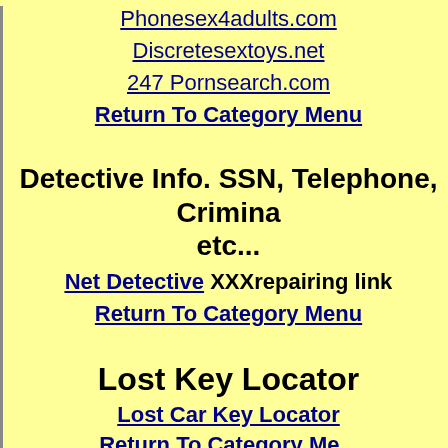Phonesex4adults.com
Discretesextoys.net
247 Pornsearch.com
Return To Category Menu
Detective Info. SSN, Telephone, Criminal, etc...
Net Detective XXXrepairing link
Return To Category Menu
Lost Key Locator
Lost Car Key Locator
Return To Category Menu